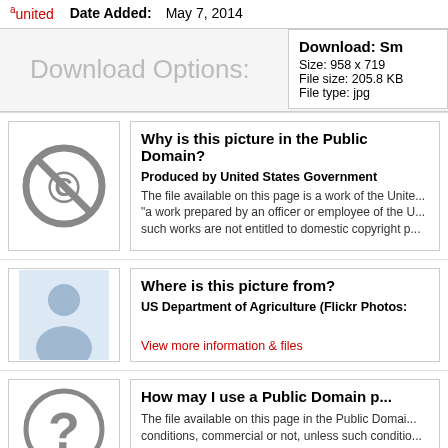°united   Date Added: May 7, 2014
Download Options:
Download: Sm
Size: 958 x 719
File size: 205.8 KB
File type: jpg
[Figure (illustration): Public domain / no copyright symbol (circle with slash over C)]
Why is this picture in the Public Domain?
Produced by United States Government
The file available on this page is a work of the United States Government. As defined by United States copyright law, "a work prepared by an officer or employee of the United States Government as part of that person's official duties." Such works are not entitled to domestic copyright protection.
[Figure (illustration): Generic person silhouette placeholder image (blue/grey tones)]
Where is this picture from?
US Department of Agriculture (Flickr Photos)
View more information & files
[Figure (illustration): Question mark icon in a circle]
How may I use a Public Domain picture?
The file available on this page in the Public Domain may be used for any purpose, under any conditions, commercial or not, unless such conditions are required by law.
Possible Prohibited Uses